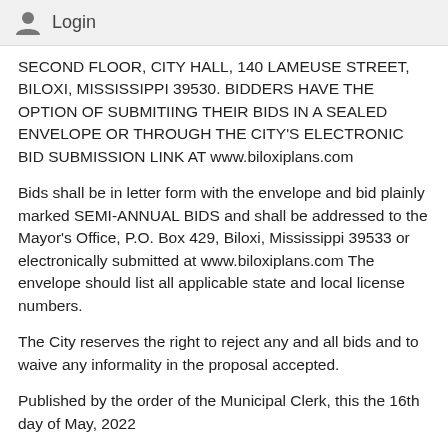Login
SECOND FLOOR, CITY HALL, 140 LAMEUSE STREET, BILOXI, MISSISSIPPI 39530. BIDDERS HAVE THE OPTION OF SUBMITIING THEIR BIDS IN A SEALED ENVELOPE OR THROUGH THE CITY'S ELECTRONIC BID SUBMISSION LINK AT www.biloxiplans.com
Bids shall be in letter form with the envelope and bid plainly marked SEMI-ANNUAL BIDS and shall be addressed to the Mayor's Office, P.O. Box 429, Biloxi, Mississippi 39533 or electronically submitted at www.biloxiplans.com The envelope should list all applicable state and local license numbers.
The City reserves the right to reject any and all bids and to waive any informality in the proposal accepted.
Published by the order of the Municipal Clerk, this the 16th day of May, 2022
Publish Twice:
May 24, 2022 &